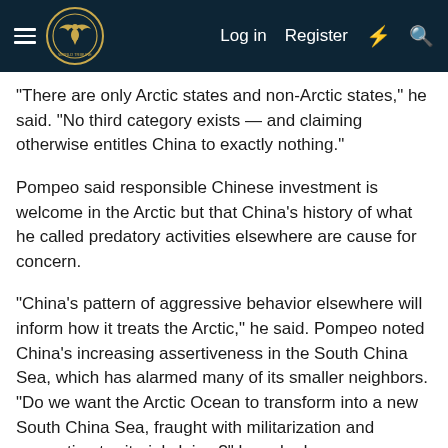Log in  Register
"There are only Arctic states and non-Arctic states," he said. "No third category exists — and claiming otherwise entitles China to exactly nothing."
Pompeo said responsible Chinese investment is welcome in the Arctic but that China's history of what he called predatory activities elsewhere are cause for concern.
"China's pattern of aggressive behavior elsewhere will inform how it treats the Arctic," he said. Pompeo noted China's increasing assertiveness in the South China Sea, which has alarmed many of its smaller neighbors. "Do we want the Arctic Ocean to transform into a new South China Sea, fraught with militarization and competing territorial claims?" he asked.
China's special representative for Arctic affairs, Gao Feng, who is at the council meeting, dismissed Pompeo's warnings and said countries should be free do deal with China as they wish.